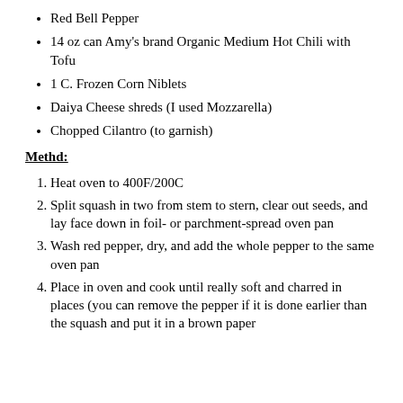Red Bell Pepper
14 oz can Amy's brand Organic Medium Hot Chili with Tofu
1 C. Frozen Corn Niblets
Daiya Cheese shreds (I used Mozzarella)
Chopped Cilantro (to garnish)
Methd:
Heat oven to 400F/200C
Split squash in two from stem to stern, clear out seeds, and lay face down in foil- or parchment-spread oven pan
Wash red pepper, dry, and add the whole pepper to the same oven pan
Place in oven and cook until really soft and charred in places (you can remove the pepper if it is done earlier than the squash and put it in a brown paper